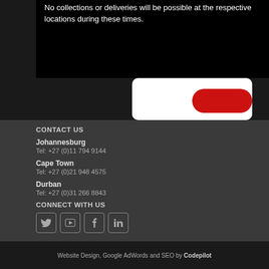No collections or deliveries will be possible at the respective locations during these times.
CONTACT US
Johannesburg
Tel: +27 (0)11 794 9144
Cape Town
Tel: +27 (0)21 948 4575
Durban
Tel: +27 (0)31 266 8843
CONNECT WITH US
[Figure (illustration): Social media icons: Twitter, YouTube, Facebook, LinkedIn]
Website Design, Google AdWords and SEO by Codepilot